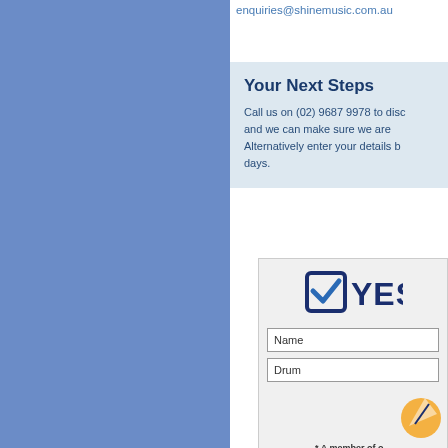enquiries@shinemusic.com.au
Your Next Steps
Call us on (02) 9687 9978 to disc... and we can make sure we are... Alternatively enter your details b... days.
[Figure (logo): YES logo with checkmark in a box, bold text]
Name
Drum
[Figure (illustration): Rocket/paper plane icon]
* A member of our team will book in your le... You will also...